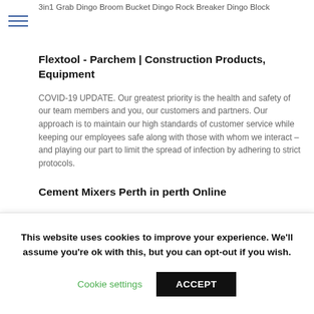3in1 Grab Dingo Broom Bucket Dingo Rock Breaker Dingo Block
Flextool - Parchem | Construction Products, Equipment
COVID-19 UPDATE. Our greatest priority is the health and safety of our team members and you, our customers and partners. Our approach is to maintain our high standards of customer service while keeping our employees safe along with those with whom we interact – and playing our part to limit the spread of infection by adhering to strict protocols.
Cement Mixers Perth in perth Online
Shop for Cement Mixers Perth at perth Online ? We have Massive range of Cheap Cement Mixers Perth at Cement Mixer. Buy High Quality Cement Mixer at perth online at crazysales.com.au today!
This website uses cookies to improve your experience. We'll assume you're ok with this, but you can opt-out if you wish. Cookie settings ACCEPT